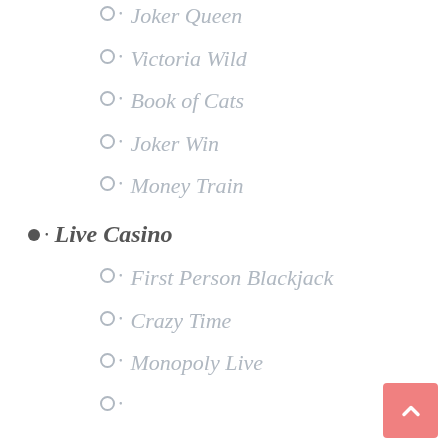Joker Queen
Victoria Wild
Book of Cats
Joker Win
Money Train
Live Casino
First Person Blackjack
Crazy Time
Monopoly Live